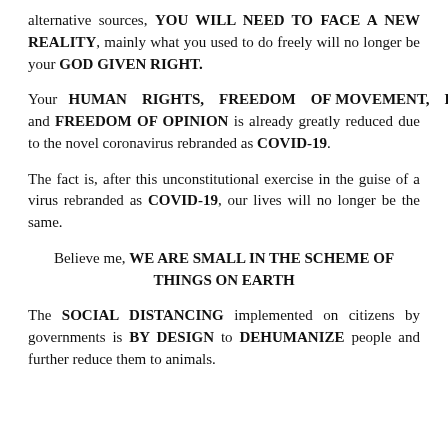alternative sources, YOU WILL NEED TO FACE A NEW REALITY, mainly what you used to do freely will no longer be your GOD GIVEN RIGHT.
Your HUMAN RIGHTS, FREEDOM OF MOVEMENT, FREEDOM OF ASSEMBLY, and FREEDOM OF OPINION is already greatly reduced due to the novel coronavirus rebranded as COVID-19.
The fact is, after this unconstitutional exercise in the guise of a virus rebranded as COVID-19, our lives will no longer be the same.
Believe me, WE ARE SMALL IN THE SCHEME OF THINGS ON EARTH
The SOCIAL DISTANCING implemented on citizens by governments is BY DESIGN to DEHUMANIZE people and further reduce them to animals.